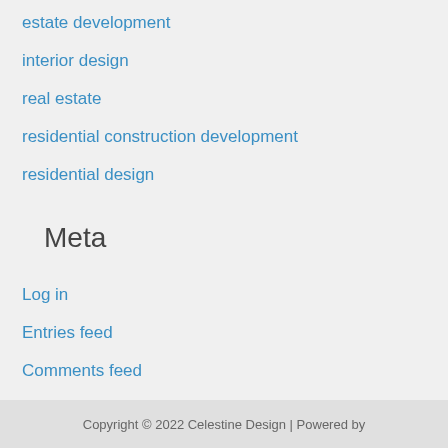estate development
interior design
real estate
residential construction development
residential design
Meta
Log in
Entries feed
Comments feed
WordPress.org
Copyright © 2022 Celestine Design | Powered by